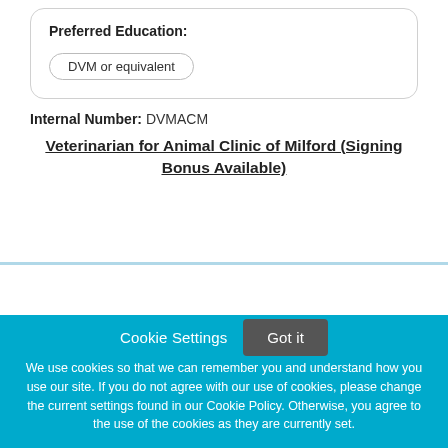Preferred Education:
DVM or equivalent
Internal Number: DVMACM
Veterinarian for Animal Clinic of Milford (Signing Bonus Available)
Cookie Settings
Got it
We use cookies so that we can remember you and understand how you use our site. If you do not agree with our use of cookies, please change the current settings found in our Cookie Policy. Otherwise, you agree to the use of the cookies as they are currently set.